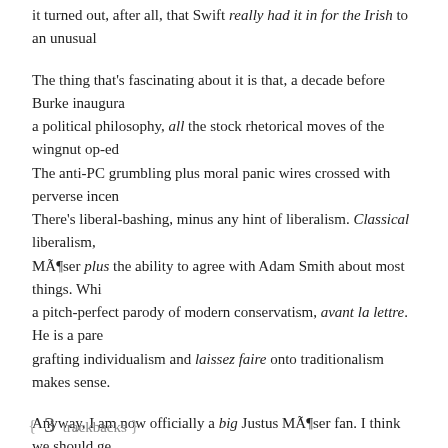it turned out, after all, that Swift really had it in for the Irish to an unusual
The thing that's fascinating about it is that, a decade before Burke inaugura a political philosophy, all the stock rhetorical moves of the wingnut op-ed The anti-PC grumbling plus moral panic wires crossed with perverse incen There's liberal-bashing, minus any hint of liberalism. Classical liberalism, MÃ¶ser plus the ability to agree with Adam Smith about most things. Whi a pitch-perfect parody of modern conservatism, avant la lettre. He is a pare grafting individualism and laissez faire onto traditionalism makes sense.
Anyway, I am now officially a big Justus MÃ¶ser fan. I think we should ge collective translation project, just so Sadly, No! can read the stuff.
Share this:
Tweet
3 trackbacks